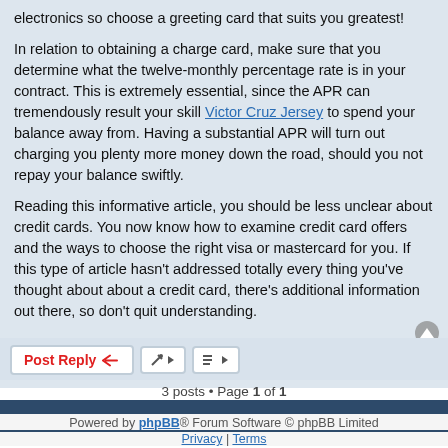electronics so choose a greeting card that suits you greatest!

In relation to obtaining a charge card, make sure that you determine what the twelve-monthly percentage rate is in your contract. This is extremely essential, since the APR can tremendously result your skill Victor Cruz Jersey to spend your balance away from. Having a substantial APR will turn out charging you plenty more money down the road, should you not repay your balance swiftly.

Reading this informative article, you should be less unclear about credit cards. You now know how to examine credit card offers and the ways to choose the right visa or mastercard for you. If this type of article hasn't addressed totally every thing you've thought about about a credit card, there's additional information out there, so don't quit understanding.
3 posts • Page 1 of 1
Home · Board index   All times are UTC-08:00
Powered by phpBB® Forum Software © phpBB Limited
Privacy | Terms